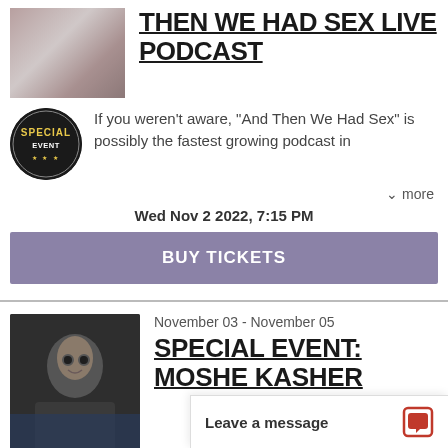[Figure (photo): Two people cropped headshot photo at top left]
THEN WE HAD SEX LIVE PODCAST
[Figure (logo): Special Event circular badge logo]
If you weren't aware, "And Then We Had Sex" is possibly the fastest growing podcast in
▾ more
Wed Nov 2 2022, 7:15 PM
BUY TICKETS
November 03 - November 05
[Figure (photo): Man with glasses headshot photo]
SPECIAL EVENT: MOSHE KASHER
[Figure (logo): Special Event circular badge logo]
Actor/comedian/writer Moshe Kasher is widely known as...
Leave a message